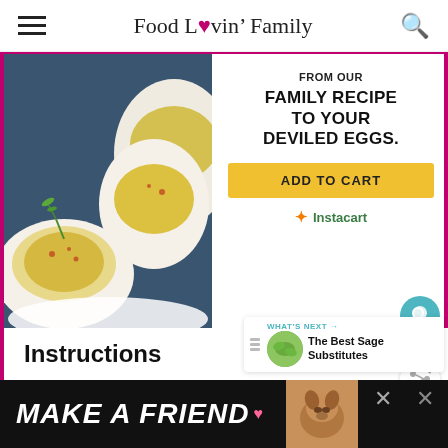Food Lovin' Family
[Figure (photo): Deviled eggs on a white plate with green dill garnish and paprika seasoning, with a yellow mustard ad panel showing 'FROM OUR FAMILY RECIPE TO YOUR DEVILED EGGS.' with ADD TO CART button and Instacart logo]
[Figure (infographic): Social sidebar with teal heart button, count 91, and share button]
[Figure (infographic): What's Next panel showing sage leaf thumbnail and text 'The Best Sage Substitutes']
Instructions
[Figure (infographic): Bottom advertisement banner with text 'MAKE A FRIEND' in white italic on black background, with dog photo and close buttons]